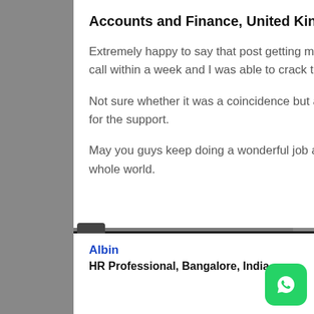Accounts and Finance, United Kingdom
Extremely happy to say that post getting my resume done from you, I started applying with the same. I got a call within a week and I was able to crack the interview too.
Not sure whether it was a coincidence but am really happy about the coincidence and thankful to all of you for the support.
May you guys keep doing a wonderful job and keep changing lives, particularly in this difficult time for the whole world.
Albin
HR Professional, Bangalore, India